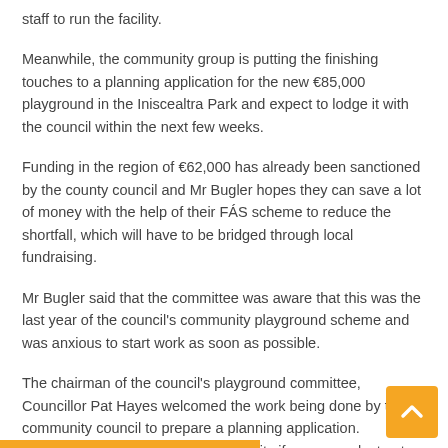staff to run the facility.
Meanwhile, the community group is putting the finishing touches to a planning application for the new €85,000 playground in the Iniscealtra Park and expect to lodge it with the council within the next few weeks.
Funding in the region of €62,000 has already been sanctioned by the county council and Mr Bugler hopes they can save a lot of money with the help of their FÁS scheme to reduce the shortfall, which will have to be bridged through local fundraising.
Mr Bugler said that the committee was aware that this was the last year of the council's community playground scheme and was anxious to start work as soon as possible.
The chairman of the council's playground committee, Councillor Pat Hayes welcomed the work being done by the community council to prepare a planning application. Councillor Hayes said it would be a pity if any group lost out on funding because they hadn't drawn